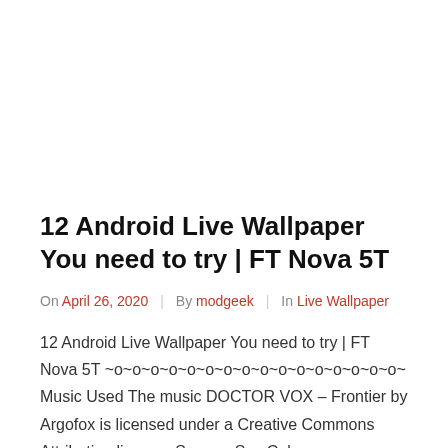12 Android Live Wallpaper You need to try | FT Nova 5T
On April 26, 2020 | By modgeek | In Live Wallpaper
12 Android Live Wallpaper You need to try | FT Nova 5T ~o~o~o~o~o~o~o~o~o~o~o~o~o~o~o~o~ Music Used The music DOCTOR VOX – Frontier by Argofox is licensed under a Creative Commons Attribution license. Source: Syn Cole – …